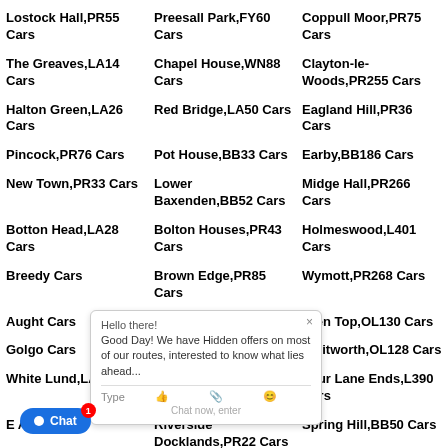Lostock Hall,PR55 Cars
Preesall Park,FY60 Cars
Coppull Moor,PR75 Cars
The Greaves,LA14 Cars
Chapel House,WN88 Cars
Clayton-le-Woods,PR255 Cars
Halton Green,LA26 Cars
Red Bridge,LA50 Cars
Eagland Hill,PR36 Cars
Pincock,PR76 Cars
Pot House,BB33 Cars
Earby,BB186 Cars
New Town,PR33 Cars
Lower Baxenden,BB52 Cars
Midge Hall,PR266 Cars
Botton Head,LA28 Cars
Bolton Houses,PR43 Cars
Holmeswood,L401 Cars
Breedy Cars
Brown Edge,PR85 Cars
Wymott,PR268 Cars
Aught Cars
Goodshaw,BB48 Cars
Glen Top,OL130 Cars
Golgo Cars
Woodnook,BB52 Cars
Whitworth,OL128 Cars
White Lund,LA55 Cars
Sykes,BB73 Cars
Four Lane Ends,L390 Cars
E A28 Cars
Riverside Docklands,PR22 Cars
Spring Hill,BB50 Cars